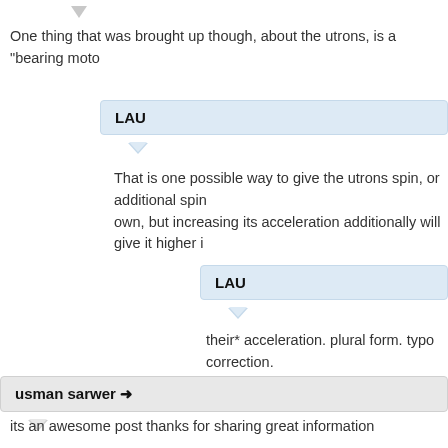[Figure (other): Downward-pointing vote arrow icon in light gray]
One thing that was brought up though, about the utrons, is a "bearing moto
LAU
That is one possible way to give the utrons spin, or additional spin own, but increasing its acceleration additionally will give it higher i
LAU
their* acceleration. plural form. typo correction.
usman sarwer ➜
its an awesome post thanks for sharing great information